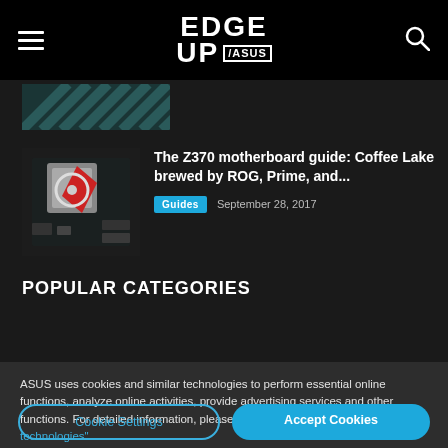EDGE UP / ASUS
[Figure (photo): Partial image of a PC component visible at top of page, diagonal stripe pattern]
[Figure (photo): Thumbnail image of Z370 motherboard with CPU cooler from above, showing red and white heatsink components]
The Z370 motherboard guide: Coffee Lake brewed by ROG, Prime, and...
Guides  September 28, 2017
POPULAR CATEGORIES
ASUS uses cookies and similar technologies to perform essential online functions, analyze online activities, provide advertising services and other functions. For detailed information, please visit "Cookies and similar technologies".